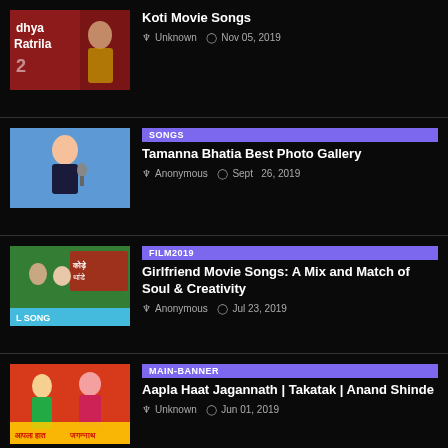Koti Movie Songs | Unknown | Nov 05, 2019
SONGS | Tamanna Bhatia Best Photo Gallery | Anonymous | Sept 26, 2019
FILM2019 | Girlfriend Movie Songs: A Mix and Match of Soul & Creativity | Anonymous | Jul 23, 2019
MAIN-BANNER | Aapla Haat Jagannath | Takatak | Anand Shinde | Unknown | Jun 01, 2019